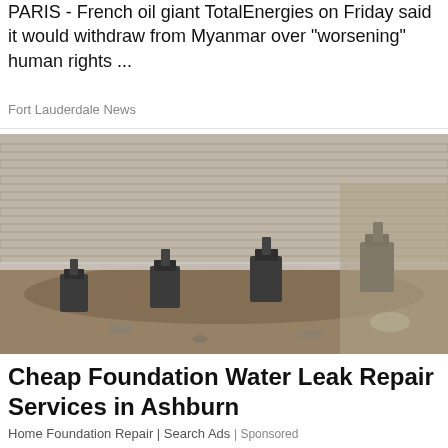PARIS - French oil giant TotalEnergies on Friday said it would withdraw from Myanmar over "worsening" human rights ...
Fort Lauderdale News
[Figure (photo): Construction photo showing foundation repair work along a brick wall with heavy metal equipment/anchors installed at intervals along the base of the wall, with excavated dirt trench in foreground. Black and white / desaturated image.]
Cheap Foundation Water Leak Repair Services in Ashburn
Home Foundation Repair | Search Ads | Sponsored